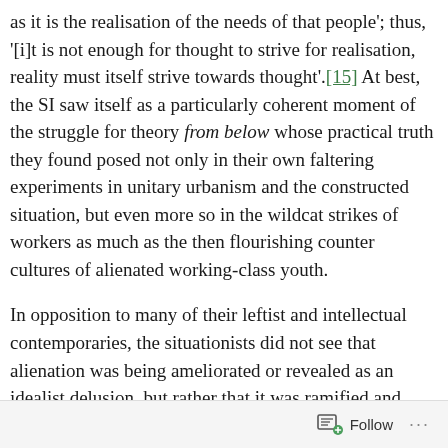as it is the realisation of the needs of that people'; thus, '[i]t is not enough for thought to strive for realisation, reality must itself strive towards thought'.[15] At best, the SI saw itself as a particularly coherent moment of the struggle for theory from below whose practical truth they found posed not only in their own faltering experiments in unitary urbanism and the constructed situation, but even more so in the wildcat strikes of workers as much as the then flourishing counter cultures of alienated working-class youth.
In opposition to many of their leftist and intellectual contemporaries, the situationists did not see that alienation was being ameliorated or revealed as an idealist delusion, but rather that it was ramified and multiplied with the intensification and extension of capitalist production and consumption across the globe. The question, then, was not one of educating the proletariat in the guise of the eternal